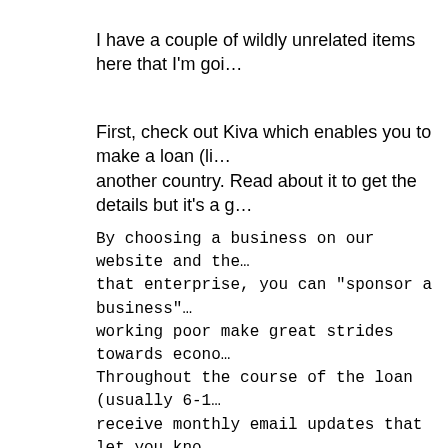I have a couple of wildly unrelated items here that I'm goi…
First, check out Kiva which enables you to make a loan (li… another country. Read about it to get the details but it's a g…
By choosing a business on our website and the… that enterprise, you can "sponsor a business"… working poor make great strides towards econo… Throughout the course of the loan (usually 6-1… receive monthly email updates that let you kno… being made by the small business you've spons… repaid, you will get your original loan money…
The second item has to do with my two favorite lines hear…
The first was on Smallville where Professor Milton Fine (a… complicated than that but I'm not a diehard follower of Sup… Spike, major vampire-guy on Buffy the Vampire Slayer, sa…